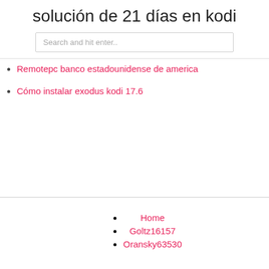solución de 21 días en kodi
Search and hit enter..
Remotepc banco estadounidense de america
Cómo instalar exodus kodi 17.6
Home
Goltz16157
Oransky63530